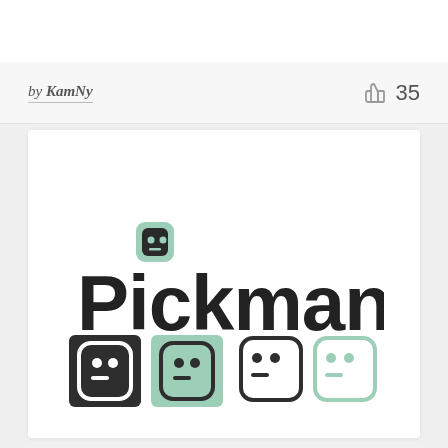by KamNy
35
[Figure (logo): Pickman logo: bold black text 'Pickman' with a mint green robot/character face icon above the letter 'i', plus four icon variants below showing the character in dark and mint color schemes]